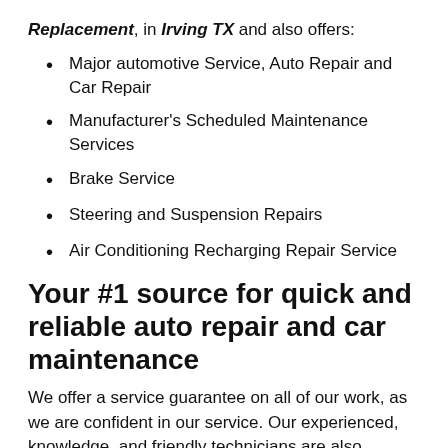Replacement, in Irving TX and also offers:
Major automotive Service, Auto Repair and Car Repair
Manufacturer's Scheduled Maintenance Services
Brake Service
Steering and Suspension Repairs
Air Conditioning Recharging Repair Service
Your #1 source for quick and reliable auto repair and car maintenance
We offer a service guarantee on all of our work, as we are confident in our service. Our experienced, knowledge, and friendly technicians are also qualified to perform factory scheduled maintenance without voiding warranties. That means you can get high quality, affordable auto care in Irving TX without having to go directly to the dealership.